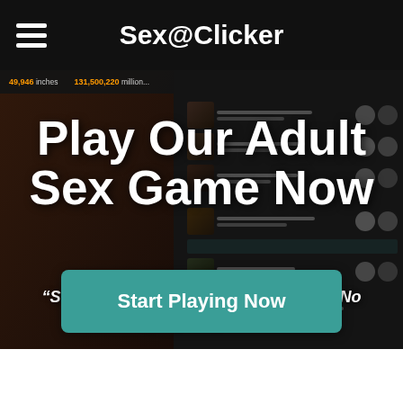Sex@Clicker
Play Our Adult Sex Game Now
“Start clicking on girls for free — With No Signup Required!”
Start Playing Now